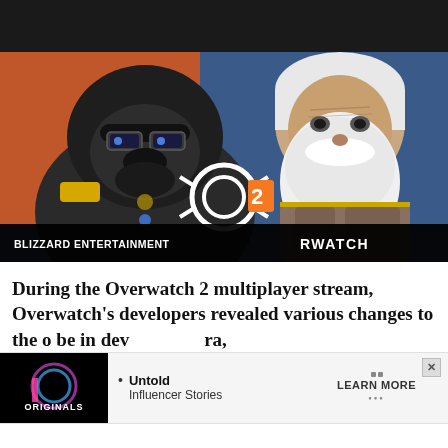[Figure (screenshot): Dark header bar at top of a webpage]
[Figure (photo): Overwatch 2 game screenshot showing Winston (gorilla character in armor) on the left and Reinhardt (old man with white beard) on the right, with the Overwatch 2 logo overlaid. Bottom bar shows 'BLIZZARD ENTERTAINMENT' and 'RWATCH' (Overwatch logo text).]
During the Overwatch 2 multiplayer stream, Overwatch's developers revealed various changes to the [ad obscures] o be in dev[elopment] ra,
[Figure (screenshot): Advertisement bar: left side shows Originals logo on black background, center shows bullet point 'Untold Influencer Stories', right side shows 'LEARN MORE' button with dots. X close button in top right.]